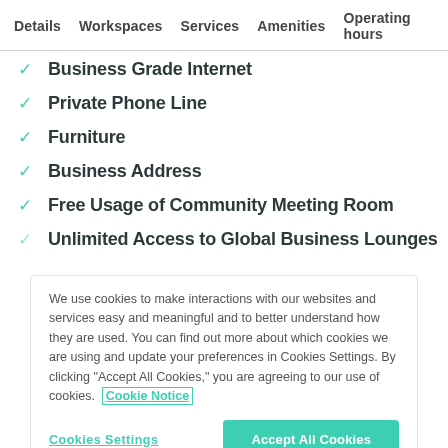Details  Workspaces  Services  Amenities  Operating hours
Business Grade Internet
Private Phone Line
Furniture
Business Address
Free Usage of Community Meeting Room
Unlimited Access to Global Business Lounges
We use cookies to make interactions with our websites and services easy and meaningful and to better understand how they are used. You can find out more about which cookies we are using and update your preferences in Cookies Settings. By clicking "Accept All Cookies," you are agreeing to our use of cookies.  Cookie Notice
Cookies Settings
Accept All Cookies